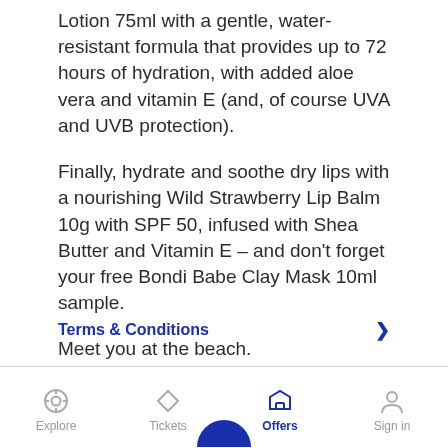Lotion 75ml with a gentle, water-resistant formula that provides up to 72 hours of hydration, with added aloe vera and vitamin E (and, of course UVA and UVB protection).
Finally, hydrate and soothe dry lips with a nourishing Wild Strawberry Lip Balm 10g with SPF 50, infused with Shea Butter and Vitamin E – and don’t forget your free Bondi Babe Clay Mask 10ml sample.
Meet you at the beach.
Terms & Conditions
Explore   Tickets   Offers   Sign in